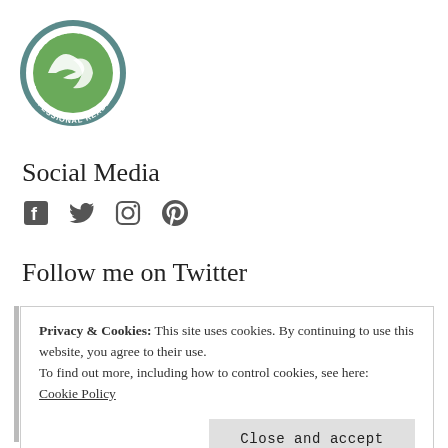[Figure (logo): NetGalley Member Professional Reader circular badge/logo with green and teal colors, featuring an arrow/book icon in the center]
Social Media
[Figure (illustration): Social media icons: Facebook, Twitter, Instagram, Pinterest]
Follow me on Twitter
Privacy & Cookies: This site uses cookies. By continuing to use this website, you agree to their use.
To find out more, including how to control cookies, see here:
Cookie Policy
Close and accept